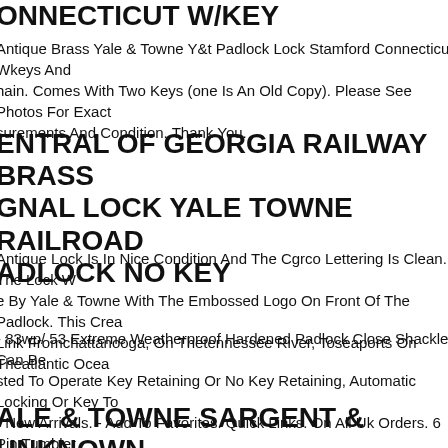ONNECTICUT W/KEY
Antique Brass Yale & Towne Y&t Padlock Lock Stamford Connecticut Wkeys And Chain. Comes With Two Keys (one Is An Old Copy). Please See Photos For Exact surements And Condition. Thank You.
ENTRAL OF GEORGIA RAILWAY BRASS GNAL LOCK YALE TOWNE RAILROAD ADLOCK NO KEY
Antique Lock Is In Nice Condition And The Cgrco Lettering Is Clean. The Lock W e By Yale & Towne With The Embossed Logo On Front Of The Padlock. This Crea Link Fromchattanooga, On Thetennessee River, Toseaports On Theatlantic Ocea
- 83wp/ 53 Extreme Weatherproof Hardened Padlock Close Shackle. Can Be sted To Operate Key Retaining Or No Key Retaining, Automatic Locking Or Key To - New Arrivals. - Add To Favorites. Quick Links. On All Uk Orders. 6 Pin Tumbler der Rust Free Components With Anti-pick Mushroom Pins, Resists Picking.
ALE & TOWNE SARGENT & UNKNOWN CK PADLOCK & KEYS LOTOF 4